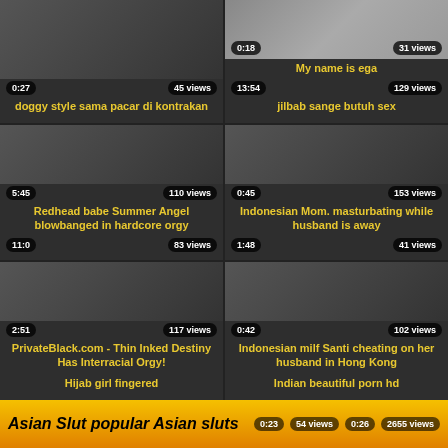[Figure (screenshot): Video thumbnail grid - adult video website screenshot showing multiple video thumbnails with titles, view counts, and durations]
My name is ega
doggy style sama pacar di kontrakan
jilbab sange butuh sex
Redhead babe Summer Angel blowbanged in hardcore orgy
Indonesian Mom. masturbating while husband is away
PrivateBlack.com - Thin Inked Destiny Has Interracial Orgy!
Indonesian milf Santi cheating on her husband in Hong Kong
Hijab girl fingered
Indian beautiful porn hd
Asian Slut popular Asian sluts